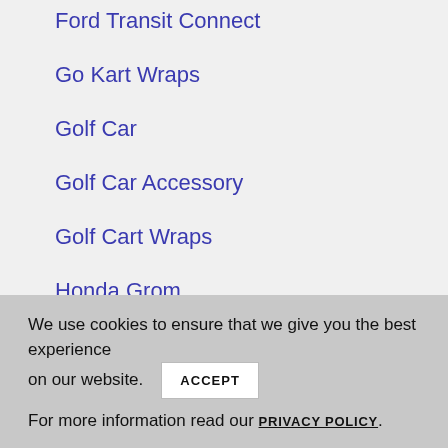Ford Transit Connect
Go Kart Wraps
Golf Car
Golf Car Accessory
Golf Cart Wraps
Honda Grom
Jeep wraps
We use cookies to ensure that we give you the best experience on our website. ACCEPT For more information read our PRIVACY POLICY.